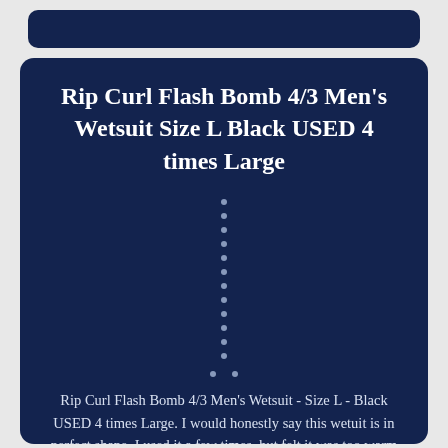Rip Curl Flash Bomb 4/3 Men's Wetsuit Size L Black USED 4 times Large
Rip Curl Flash Bomb 4/3 Men's Wetsuit - Size L - Black USED 4 times Large. I would honestly say this wetuit is in perfect shape. I used it a few times, but felt it was too warm for SoCal so I reverted back to using by 3/2.